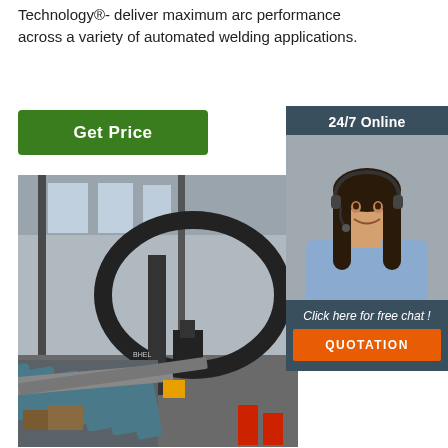Technology®- deliver maximum arc performance across a variety of automated welding applications.
[Figure (other): Green 'Get Price' button]
[Figure (photo): Industrial welding/manufacturing facility interior with conveyor rollers and large metal structures]
[Figure (other): 24/7 Online chat sidebar with photo of customer service representative, 'Click here for free chat!' text, and orange QUOTATION button]